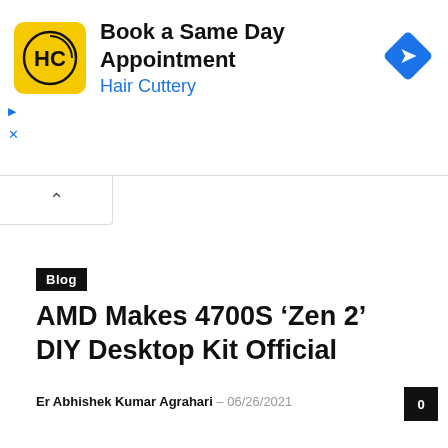[Figure (screenshot): Hair Cuttery advertisement banner with yellow logo showing 'HC', text 'Book a Same Day Appointment', 'Hair Cuttery', and a blue diamond navigation icon on the right.]
Blog
AMD Makes 4700S ‘Zen 2’ DIY Desktop Kit Official
Er Abhishek Kumar Agrahari – 06/26/2021